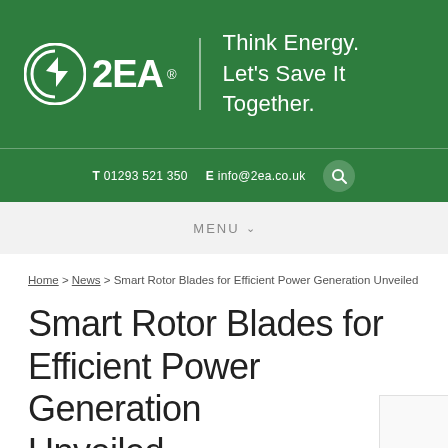[Figure (logo): 2EA company logo with circular icon (bolt/leaf shape) and tagline 'Think Energy. Let's Save It Together.' on green background]
T 01293 521 350  E info@2ea.co.uk
MENU
Home > News > Smart Rotor Blades for Efficient Power Generation Unveiled
Smart Rotor Blades for Efficient Power Generation Unveiled
Posted on 28th April 2016